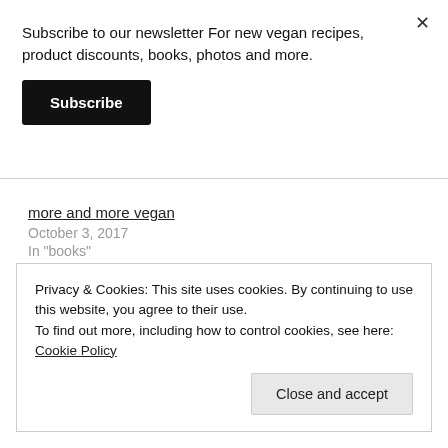Subscribe to our newsletter For new vegan recipes, product discounts, books, photos and more.
Subscribe
more and more vegan
October 3, 2017
In "books"
Privacy & Cookies: This site uses cookies. By continuing to use this website, you agree to their use.
To find out more, including how to control cookies, see here: Cookie Policy
Close and accept